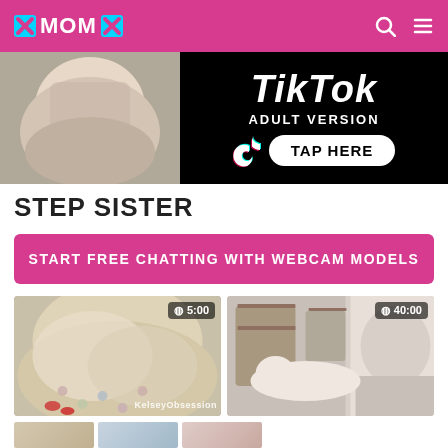XMOMX
[Figure (photo): Banner advertisement for TikTok Adult Version with 'TAP HERE' button]
STEP SISTER
START FREE CHATTING WITH WEBCAM MODELS
[Figure (photo): Video thumbnail - farting fetish with stepsister, duration 5:00, watermark KelseyObsession]
Farting fetish video with a stepsister
[Figure (photo): Video thumbnail - Friend of my sister, duration 40:00]
Friend of my sister